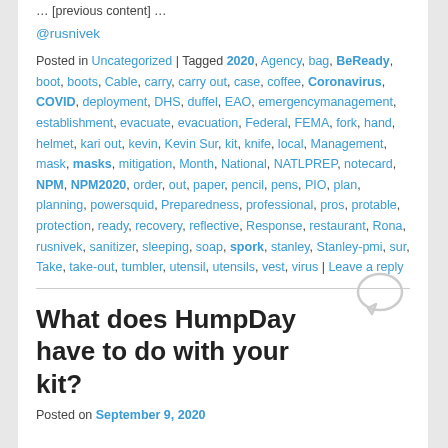@rusnivek
Posted in Uncategorized | Tagged 2020, Agency, bag, BeReady, boot, boots, Cable, carry, carry out, case, coffee, Coronavirus, COVID, deployment, DHS, duffel, EAO, emergencymanagement, establishment, evacuate, evacuation, Federal, FEMA, fork, hand, helmet, kari out, kevin, Kevin Sur, kit, knife, local, Management, mask, masks, mitigation, Month, National, NATLPREP, notecard, NPM, NPM2020, order, out, paper, pencil, pens, PIO, plan, planning, powersquid, Preparedness, professional, pros, protable, protection, ready, recovery, reflective, Response, restaurant, Rona, rusnivek, sanitizer, sleeping, soap, spork, stanley, Stanley-pmi, sur, Take, take-out, tumbler, utensil, utensils, vest, virus | Leave a reply
What does HumpDay have to do with your kit?
Posted on September 9, 2020